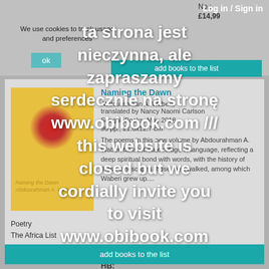Log in / Sign in
We use cookies to track usage and preferences
ok
add books to the list
[Figure (illustration): Book cover for 'Naming the Dawn' — yellow background with a large red sun circle in the center]
Naming the Dawn
Abdourahman A. Waberi; translated by Nancy Naomi Carlson
Seagull Books, May 2018
96 pp., 21.6x12.7 cm
The poems in this new volume by Abdourahman A. Waberi take intimate refuge in language, reflecting a deep spiritual bond with words, with the history of those who have walked among the landscapes those men walked, among which Waberi grew up....
Poetry
The Africa List
HB:
£12,99
QTY: 1
add books to the list
[Figure (screenshot): Overlay notice in Polish and English: 'ta strona jest nieczynna, ale zapraszamy serdecznie na stronę www.obibook.com /// this website is closed but we cordially invite you to visit www.obibook.com']